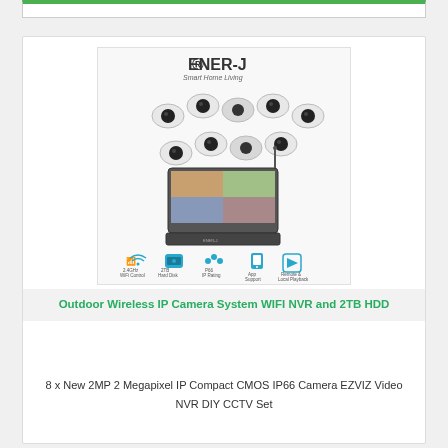[Figure (photo): ENER-J Smart Home Living product photo showing 8 outdoor wireless IP cameras arranged above an NVR with built-in monitor/screen, and feature icons below: 2.4GHz WiFi Control, 2TB Hard Disk, P66 IP Rating, App Support, Remote & Local Playback]
Outdoor Wireless IP Camera System WIFI NVR and 2TB HDD
8 x New 2MP 2 Megapixel IP Compact CMOS IP66 Camera EZVIZ Video NVR DIY CCTV Set